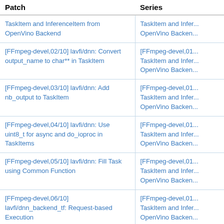| Patch | Series |
| --- | --- |
| TaskItem and InferenceItem from OpenVino Backend | TaskItem and InferenceItem from OpenVino Backend |
| [FFmpeg-devel,02/10] lavfi/dnn: Convert output_name to char** in TaskItem | [FFmpeg-devel,01...] TaskItem and InferenceItem from OpenVino Backend |
| [FFmpeg-devel,03/10] lavfi/dnn: Add nb_output to TaskItem | [FFmpeg-devel,01...] TaskItem and InferenceItem from OpenVino Backend |
| [FFmpeg-devel,04/10] lavfi/dnn: Use uint8_t for async and do_ioproc in TaskItems | [FFmpeg-devel,01...] TaskItem and InferenceItem from OpenVino Backend |
| [FFmpeg-devel,05/10] lavfi/dnn: Fill Task using Common Function | [FFmpeg-devel,01...] TaskItem and InferenceItem from OpenVino Backend |
| [FFmpeg-devel,06/10] lavfi/dnn_backend_tf: Request-based Execution | [FFmpeg-devel,01...] TaskItem and InferenceItem from OpenVino Backend |
| [FFmpeg-devel,07/10] lavfi/dnn_backend_tf: Separate function for filling RequestItem and callback | [FFmpeg-devel,01...] TaskItem and InferenceItem from OpenVino Backend |